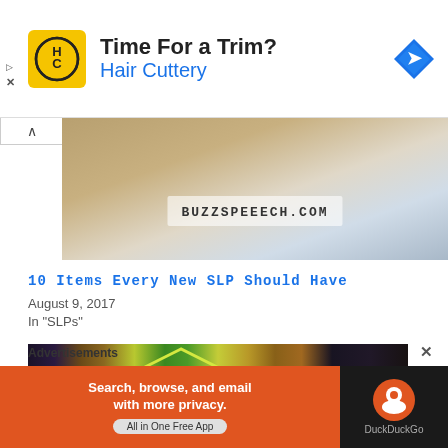[Figure (other): Hair Cuttery advertisement banner with yellow HC logo, 'Time For a Trim?' headline, and blue navigation icon]
[Figure (photo): Photo of a paper/card on a wooden surface with text BUZZSPEEECH.COM]
10 Items Every New SLP Should Have
August 9, 2017
In "SLPs"
[Figure (photo): Photo of a colorful dollhouse with toys and figurines inside]
Advertisements
[Figure (other): DuckDuckGo advertisement: Search, browse, and email with more privacy. All in One Free App]